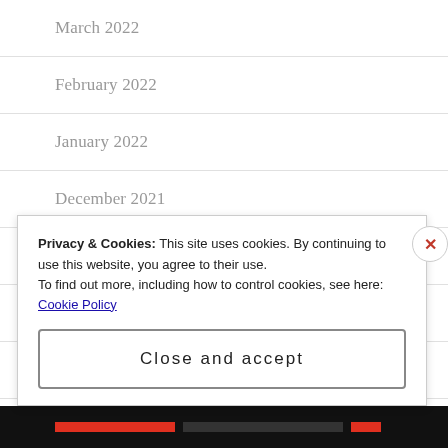March 2022
February 2022
January 2022
December 2021
November 2021
October 2021
September 2021
Privacy & Cookies: This site uses cookies. By continuing to use this website, you agree to their use.
To find out more, including how to control cookies, see here: Cookie Policy
Close and accept